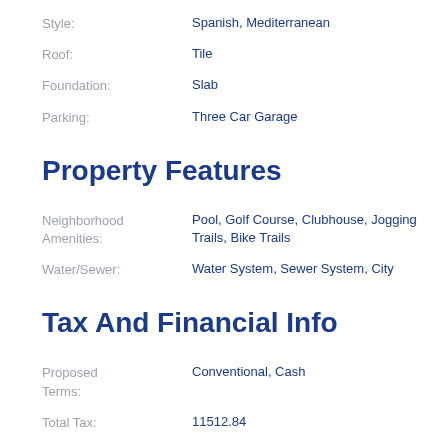Style: Spanish, Mediterranean
Roof: Tile
Foundation: Slab
Parking: Three Car Garage
Property Features
Neighborhood Amenities: Pool, Golf Course, Clubhouse, Jogging Trails, Bike Trails
Water/Sewer: Water System, Sewer System, City
Tax And Financial Info
Proposed Terms: Conventional, Cash
Total Tax: 11512.84